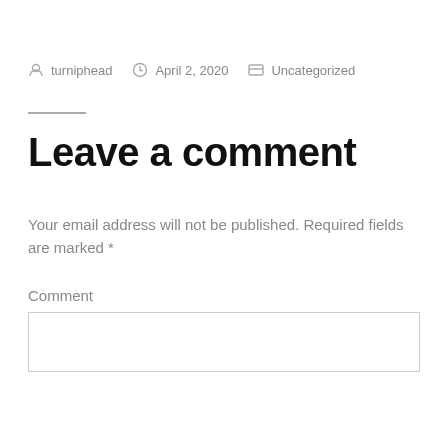turniphead   April 2, 2020   Uncategorized
Leave a comment
Your email address will not be published. Required fields are marked *
Comment